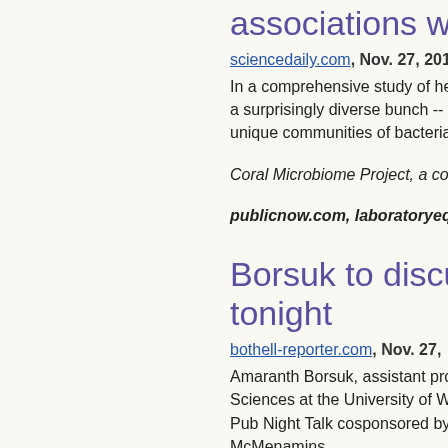associations with bacte…
sciencedaily.com, Nov. 27, 2018
In a comprehensive study of health… a surprisingly diverse bunch -- and… unique communities of bacteria. A…
Coral Microbiome Project, a colla…
publicnow.com, laboratoryequip…
Borsuk to discuss evolut… tonight
bothell-reporter.com, Nov. 27,
Amaranth Borsuk, assistant profe… Sciences at the University of Wash… Pub Night Talk cosponsored by th… McMenamins.
OSU study: corals and th…
ktvz.com, Nov. 26, 2018
Corals and the microbes they hos… University shows. Authors of the…